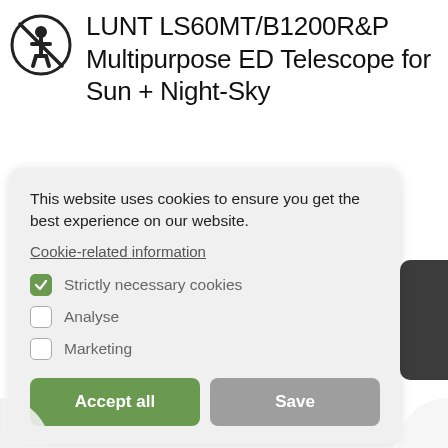LUNT LS60MT/B1200R&P Multipurpose ED Telescope for Sun + Night-Sky
This website uses cookies to ensure you get the best experience on our website.
Cookie-related information
Strictly necessary cookies
Analyse
Marketing
Accept all
Save